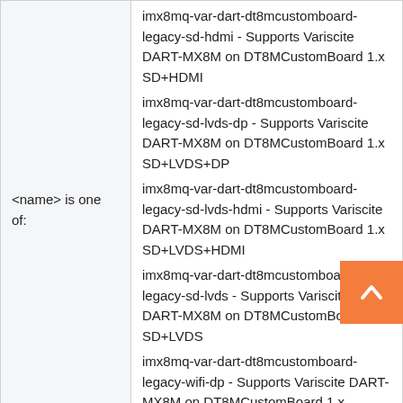|  |  |
| --- | --- |
| <name> is one of: | imx8mq-var-dart-dt8mcustomboard-legacy-sd-hdmi - Supports Variscite DART-MX8M on DT8MCustomBoard 1.x SD+HDMI
imx8mq-var-dart-dt8mcustomboard-legacy-sd-lvds-dp - Supports Variscite DART-MX8M on DT8MCustomBoard 1.x SD+LVDS+DP
imx8mq-var-dart-dt8mcustomboard-legacy-sd-lvds-hdmi - Supports Variscite DART-MX8M on DT8MCustomBoard 1.x SD+LVDS+HDMI
imx8mq-var-dart-dt8mcustomboard-legacy-sd-lvds - Supports Variscite DART-MX8M on DT8MCustomBoard 1.x SD+LVDS
imx8mq-var-dart-dt8mcustomboard-legacy-wifi-dp - Supports Variscite DART-MX8M on DT8MCustomBoard 1.x ... |